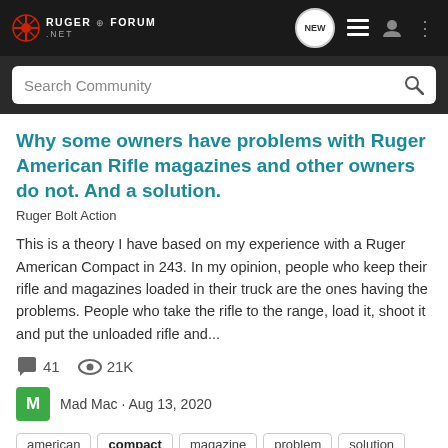RUGER FORUM .NET — navigation bar with logo, NEW button, list icon, user icon, menu dots
Search Community
Why some owners have problems with Ruger American Rifle magazines and other owners do not. And a solution.
Ruger Bolt Action
This is a theory I have based on my experience with a Ruger American Compact in 243. In my opinion, people who keep their rifle and magazines loaded in their truck are the ones having the problems. People who take the rifle to the range, load it, shoot it and put the unloaded rifle and...
41 comments · 21K views
Mad Mac · Aug 13, 2020
Tags: american, compact, magazine, problem, solution